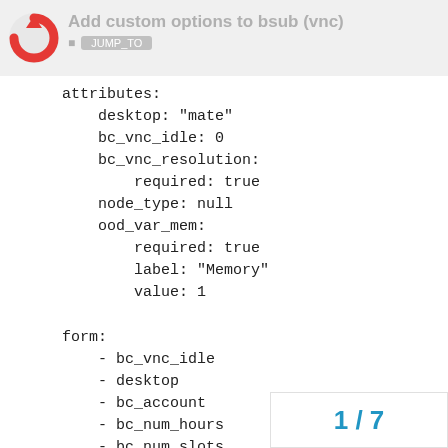Add custom options to bsub (vnc)
attributes:
    desktop: "mate"
    bc_vnc_idle: 0
    bc_vnc_resolution:
        required: true
    node_type: null
    ood_var_mem:
        required: true
        label: "Memory"
        value: 1

form:
    - bc_vnc_idle
    - desktop
    - bc_account
    - bc_num_hours
    - bc_num_slots
    - ood_var_mem
    - node_type